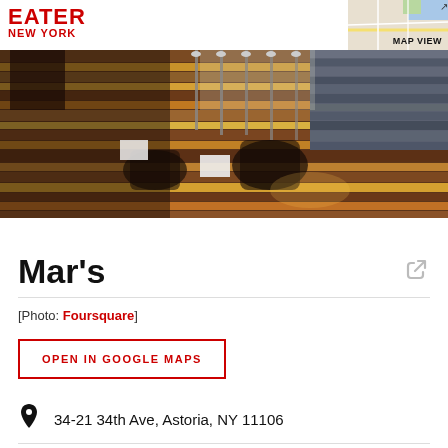EATER NEW YORK
[Figure (photo): Interior photo of Mar's restaurant showing bar seating, wooden striped floor, and a slate accent wall]
Mar's
[Photo: Foursquare]
OPEN IN GOOGLE MAPS
34-21 34th Ave, Astoria, NY 11106
(718) 685-2480